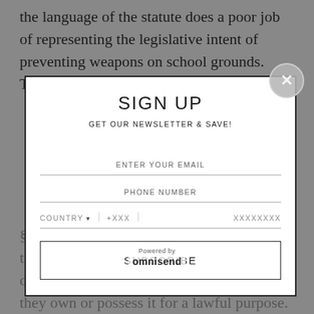the language of the statute does a poor job of representing the legislative intent of preventing weapons on school grounds. They actively invite a
[Figure (screenshot): Email/newsletter signup modal overlay with fields for email, phone number with country code selector, and a Subscribe button. Title: SIGN UP. Subtitle: GET OUR NEWSLETTER & SAVE!]
§912(c) or in some way alter the language to limit when a person can bring a weapon onto school property regardless of whether they own or possess it for a lawful purpose.
Powered by omnisend